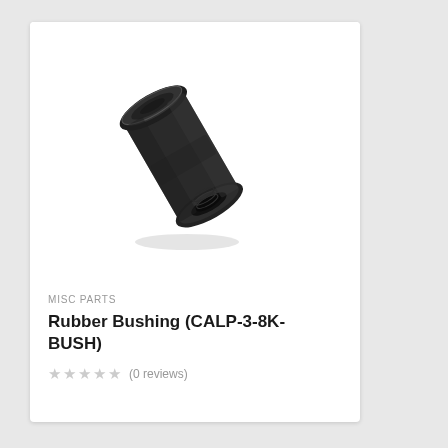[Figure (photo): A black rubber bushing (CALP-3-8K-BUSH) shown at an angle, cylindrical with flanged ends and a hollow center visible from the front end.]
MISC PARTS
Rubber Bushing (CALP-3-8K-BUSH)
★★★★★ (0 reviews)